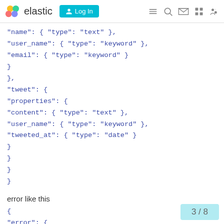elastic | Log In
"name": { "type": "text" },
"user_name": { "type": "keyword" },
"email": { "type": "keyword" }
}
},
"tweet": {
"properties": {
"content": { "type": "text" },
"user_name": { "type": "keyword" },
"tweeted_at": { "type": "date" }
}
}
}
}
error like this
{
"error": {
"root_cause": [